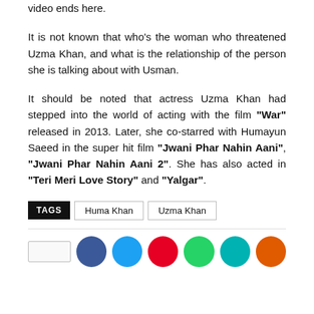video ends here.
It is not known that who's the woman who threatened Uzma Khan, and what is the relationship of the person she is talking about with Usman.
It should be noted that actress Uzma Khan had stepped into the world of acting with the film "War" released in 2013. Later, she co-starred with Humayun Saeed in the super hit film "Jwani Phar Nahin Aani", "Jwani Phar Nahin Aani 2". She has also acted in "Teri Meri Love Story" and "Yalgar".
TAGS  Huma Khan  Uzma Khan
[Figure (other): Social media share buttons: a share box and colored circular social media icons (Facebook blue, Twitter cyan, YouTube red, WhatsApp green, another teal, orange)]